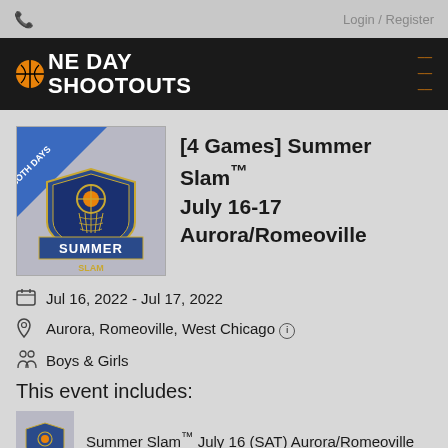Login / Register
ONE DAY SHOOTOUTS
[4 Games] Summer Slam™ July 16-17 Aurora/Romeoville
Jul 16, 2022 - Jul 17, 2022
Aurora, Romeoville, West Chicago
Boys & Girls
This event includes:
Summer Slam™ July 16 (SAT) Aurora/Romeoville